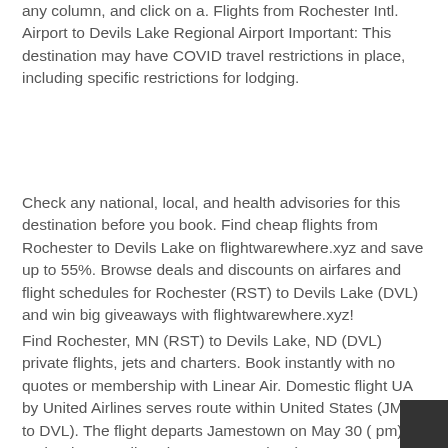any column, and click on a. Flights from Rochester Intl. Airport to Devils Lake Regional Airport Important: This destination may have COVID travel restrictions in place, including specific restrictions for lodging.
Check any national, local, and health advisories for this destination before you book. Find cheap flights from Rochester to Devils Lake on flightwarewhere.xyz and save up to 55%. Browse deals and discounts on airfares and flight schedules for Rochester (RST) to Devils Lake (DVL) and win big giveaways with flightwarewhere.xyz!
Find Rochester, MN (RST) to Devils Lake, ND (DVL) private flights, jets and charters. Book instantly with no quotes or membership with Linear Air. Domestic flight UA by United Airlines serves route within United States (JMS to DVL). The flight departs Jamestown on May 30 ( pm) and arrives Devils Lake on May 30 ( pm).
Flight duration is 0h 36m. Maybe you need flights from Devils Lake to Rochester to attend your cousin's wedding, to pitch a business idea to your boss, or perhaps simply to treat yourse